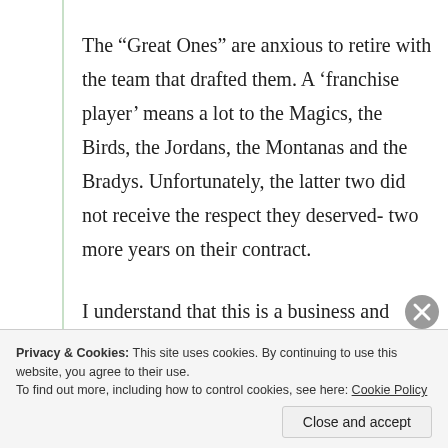The “Great Ones” are anxious to retire with the team that drafted them. A ‘franchise player’ means a lot to the Magics, the Birds, the Jordans, the Montanas and the Bradys. Unfortunately, the latter two did not receive the respect they deserved- two more years on their contract.
I understand that this is a business and salary caps need to be managed carefully to attract younger, potential winners. Tom Brady had already left $60
Privacy & Cookies: This site uses cookies. By continuing to use this website, you agree to their use.
To find out more, including how to control cookies, see here: Cookie Policy